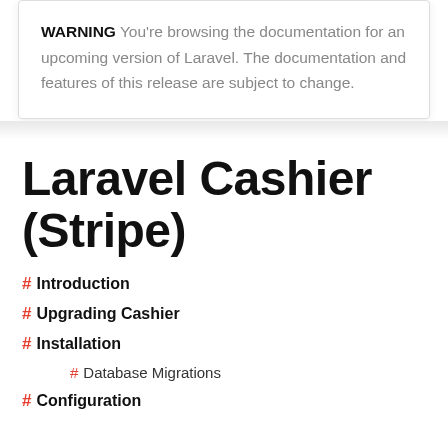WARNING You're browsing the documentation for an upcoming version of Laravel. The documentation and features of this release are subject to change.
Laravel Cashier (Stripe)
# Introduction
# Upgrading Cashier
# Installation
# Database Migrations
# Configuration